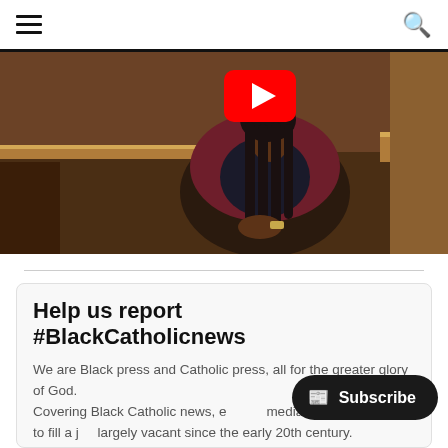Navigation bar with hamburger menu and search icon
[Figure (photo): A person sitting in a wooden church pew, wearing a dark top and maroon/burgundy jacket, with long braided hair. A YouTube play button overlay is visible at the top center of the image.]
Help us report #BlackCatholicnews
We are Black press and Catholic press, all for the greater glory of God. Covering Black Catholic news, e... media, and art, we aim to fill a j... largely vacant since the early 20th century. Our task is simple, yet profound: amplifying...